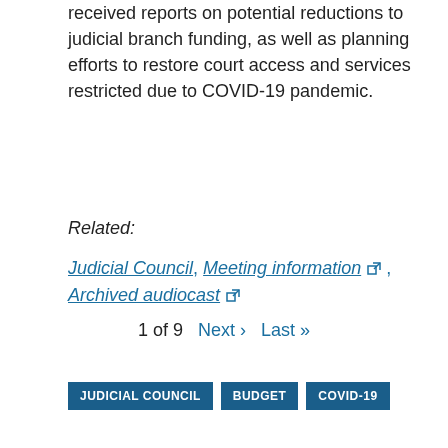received reports on potential reductions to judicial branch funding, as well as planning efforts to restore court access and services restricted due to COVID-19 pandemic.
Related:
Judicial Council, Meeting information (external link), Archived audiocast (external link)
JUDICIAL COUNCIL
BUDGET
COVID-19
1 of 9  Next ›  Last »